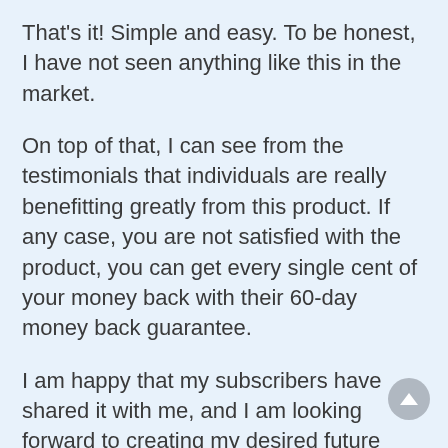That's it! Simple and easy. To be honest, I have not seen anything like this in the market.
On top of that, I can see from the testimonials that individuals are really benefitting greatly from this product. If any case, you are not satisfied with the product, you can get every single cent of your money back with their 60-day money back guarantee.
I am happy that my subscribers have shared it with me, and I am looking forward to creating my desired future